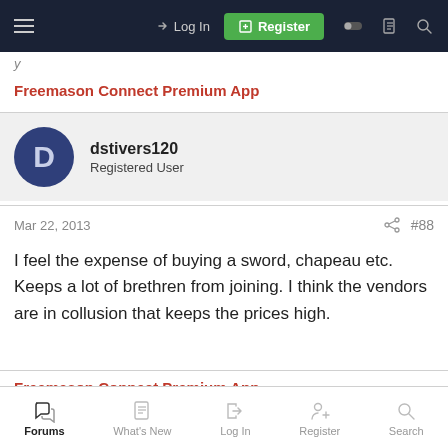Log In | Register
Freemason Connect Premium App
dstivers120
Registered User
Mar 22, 2013  #88
I feel the expense of buying a sword, chapeau etc. Keeps a lot of brethren from joining. I think the vendors are in collusion that keeps the prices high.
Freemason Connect Premium App
Forums | What's New | Log In | Register | Search